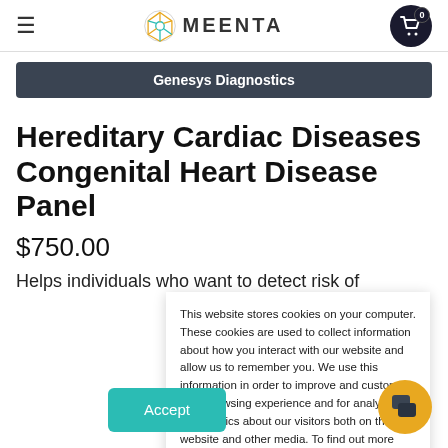MEENTA
Genesys Diagnostics
Hereditary Cardiac Diseases Congenital Heart Disease Panel
$750.00
Helps individuals who want to detect risk of
This website stores cookies on your computer. These cookies are used to collect information about how you interact with our website and allow us to remember you. We use this information in order to improve and customize your browsing experience and for analytics and metrics about our visitors both on this website and other media. To find out more about the cookies we use, see our Privacy Policy
Accept